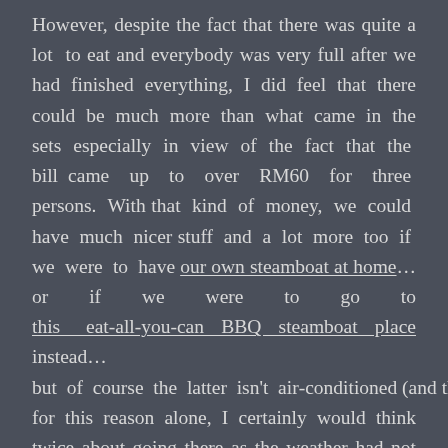However, despite the fact that there was quite a lot to eat and everybody was very full after we had finished everything, I did feel that there could be much more than what came in the sets especially in view of the fact that the bill came up to over RM60 for three persons. With that kind of money, we could have much nicer stuff and a lot more too if we were to have our own steamboat at home…or if we were to go to this eat-all-you-can BBQ steamboat place instead…but of course the latter isn't air-conditioned (and the place isn't very nice) and for this reason alone, I certainly would think twice about going there as the weather had not been very kind lately – so dry and so very hot that my fat was melting in the heat… LOL!!!